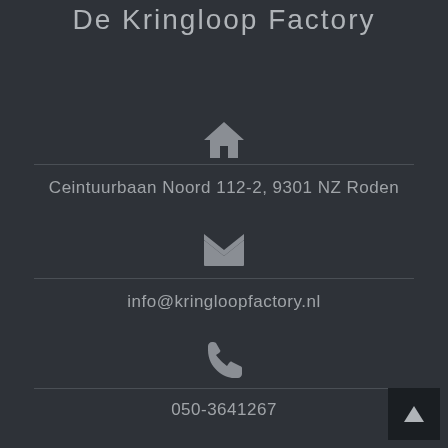De Kringloop Factory
[Figure (illustration): House/home icon (grey)]
Ceintuurbaan Noord 112-2, 9301 NZ Roden
[Figure (illustration): Envelope/email icon (grey)]
info@kringloopfactory.nl
[Figure (illustration): Phone/telephone icon (grey)]
050-3641267